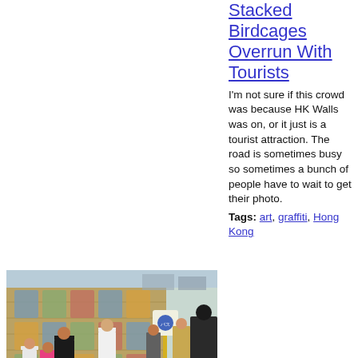Stacked Birdcages Overrun With Tourists
I'm not sure if this crowd was because HK Walls was on, or it just is a tourist attraction. The road is sometimes busy so sometimes a bunch of people have to wait to get their photo.
[Figure (photo): Street scene with people standing in front of a colorful mosaic mural wall in Hong Kong. Several people are posing for photos. A yellow road sign post is visible.]
Tags: art, graffiti, Hong Kong